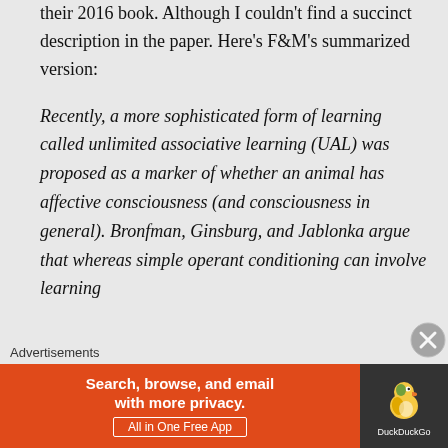their 2016 book. Although I couldn't find a succinct description in the paper. Here's F&M's summarized version:
Recently, a more sophisticated form of learning called unlimited associative learning (UAL) was proposed as a marker of whether an animal has affective consciousness (and consciousness in general). Bronfman, Ginsburg, and Jablonka argue that whereas simple operant conditioning can involve learning
Advertisements
[Figure (other): DuckDuckGo advertisement banner: orange left section with text 'Search, browse, and email with more privacy. All in One Free App' and dark right section with DuckDuckGo duck logo.]